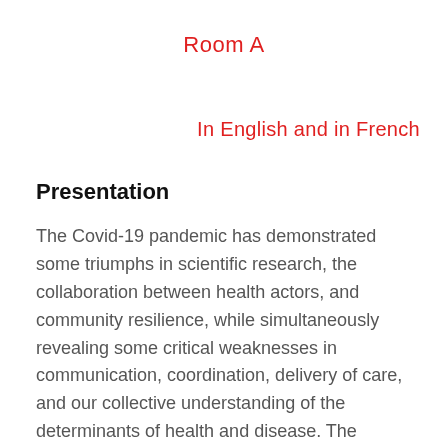Room A
In English and in French
Presentation
The Covid-19 pandemic has demonstrated some triumphs in scientific research, the collaboration between health actors, and community resilience, while simultaneously revealing some critical weaknesses in communication, coordination, delivery of care, and our collective understanding of the determinants of health and disease. The unprecedented allocation of resources towards the pandemic response has exacerbated health inequities in many contexts and increased the burdens of important diseases. It has also